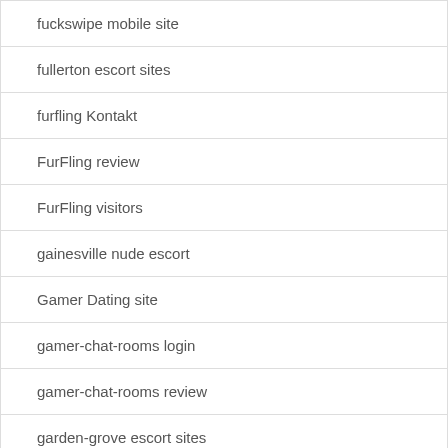fuckswipe mobile site
fullerton escort sites
furfling Kontakt
FurFling review
FurFling visitors
gainesville nude escort
Gamer Dating site
gamer-chat-rooms login
gamer-chat-rooms review
garden-grove escort sites